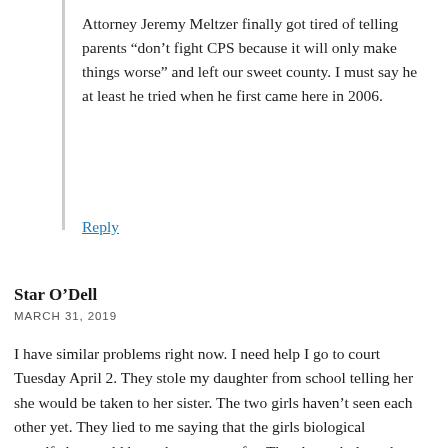Attorney Jeremy Meltzer finally got tired of telling parents “don’t fight CPS because it will only make things worse” and left our sweet county. I must say he at least he tried when he first came here in 2006.
Reply
Star O’Dell
MARCH 31, 2019
I have similar problems right now. I need help I go to court Tuesday April 2. They stole my daughter from school telling her she would be taken to her sister. The two girls haven’t seen each other yet. They lied to me saying that the girls biological grandfather could have them to care for. They haven’t done that yet. Mendocino CPS placed my girls in foster care. Separated, lied to, and the older one told me she got in trouble for asking for her baby Sister and told there’s no chance of her speaking to our seeing her sister. Why are they punishing my girls? I need immediate help please someone with anything to help me. I also